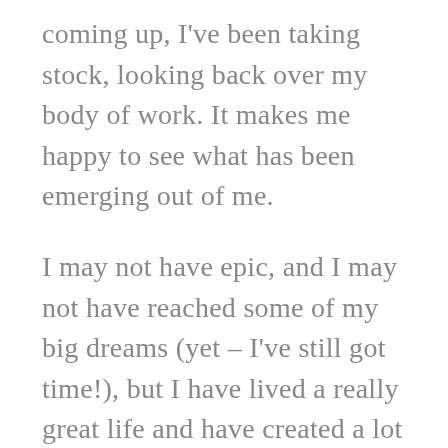coming up, I've been taking stock, looking back over my body of work. It makes me happy to see what has been emerging out of me.
I may not have epic, and I may not have reached some of my big dreams (yet – I've still got time!), but I have lived a really great life and have created a lot that I am proud of. So I'm sharing some of that with you this month. Some will be stuff I've already created at discounted